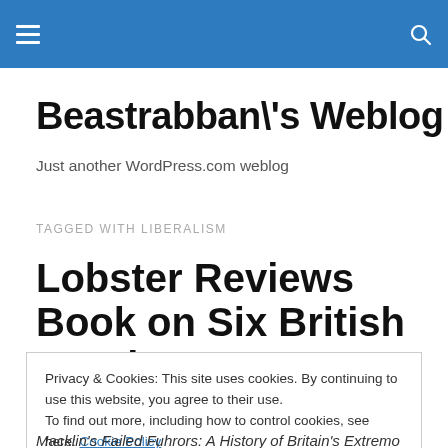Beastrabban\'s Weblog — navigation bar with hamburger menu and search icon
Beastrabban\'s Weblog
Just another WordPress.com weblog
TAGGED WITH LIBERALISM
Lobster Reviews Book on Six British Fascists
Privacy & Cookies: This site uses cookies. By continuing to use this website, you agree to their use.
To find out more, including how to control cookies, see here: Cookie Policy
Close and accept
Macklin's Failed Fuhrors: A History of Britain's Extremo